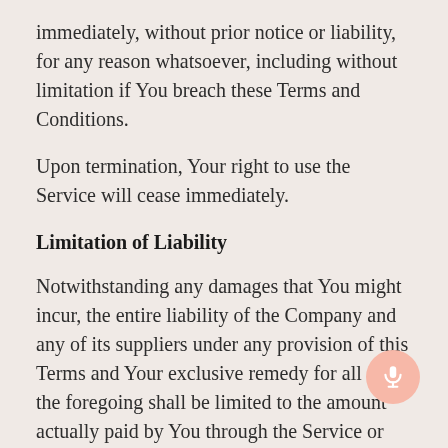immediately, without prior notice or liability, for any reason whatsoever, including without limitation if You breach these Terms and Conditions.
Upon termination, Your right to use the Service will cease immediately.
Limitation of Liability
Notwithstanding any damages that You might incur, the entire liability of the Company and any of its suppliers under any provision of this Terms and Your exclusive remedy for all of the foregoing shall be limited to the amount actually paid by You through the Service or 100 USD if You haven't purchased anything through the Service.
To the maximum extent permitted by applicable law,